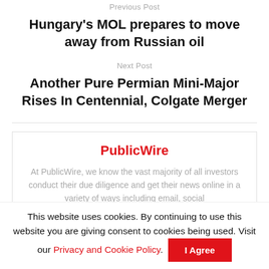Previous Post
Hungary's MOL prepares to move away from Russian oil
Next Post
Another Pure Permian Mini-Major Rises In Centennial, Colgate Merger
PublicWire
At PublicWire, we know the vast majority of all investors conduct their due diligence and get their news online in a variety of ways including email, social
This website uses cookies. By continuing to use this website you are giving consent to cookies being used. Visit our Privacy and Cookie Policy.